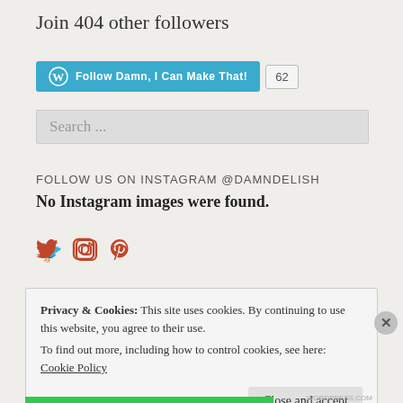Join 404 other followers
[Figure (other): WordPress Follow button for 'Damn, I Can Make That!' with follower count badge showing 62]
Search ...
FOLLOW US ON INSTAGRAM @DAMNDELISH
No Instagram images were found.
[Figure (other): Social media icons: Twitter, Instagram, Pinterest in orange/red color]
Privacy & Cookies: This site uses cookies. By continuing to use this website, you agree to their use.
To find out more, including how to control cookies, see here: Cookie Policy
Close and accept